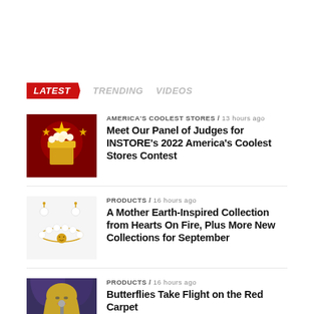LATEST   TRENDING   VIDEOS
[Figure (photo): Red background with gold popcorn bucket and stars, America's Coolest Stores contest imagery]
AMERICA'S COOLEST STORES / 13 hours ago
Meet Our Panel of Judges for INSTORE's 2022 America's Coolest Stores Contest
[Figure (photo): Pearl bracelet and earrings on white background, jewelry collection]
PRODUCTS / 16 hours ago
A Mother Earth-Inspired Collection from Hearts On Fire, Plus More New Collections for September
[Figure (photo): Female singer with long blonde hair performing at event, red carpet photo]
PRODUCTS / 16 hours ago
Butterflies Take Flight on the Red Carpet